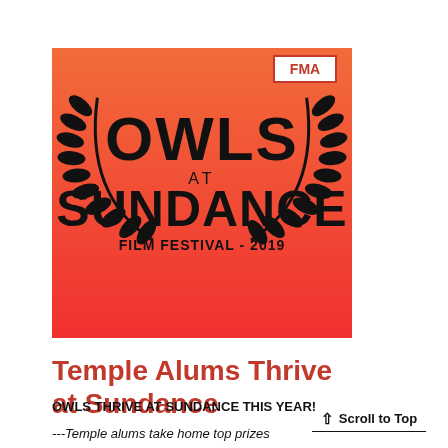[Figure (logo): Owls at Sundance Film Festival 2019 logo on an orange-red gradient background with laurel wreath and FMA badge in top right corner]
Temple Alums Thrive at Sundance
OWLS THRIVE AT SUNDANCE THIS YEAR!
---Temple alums take home top prizes